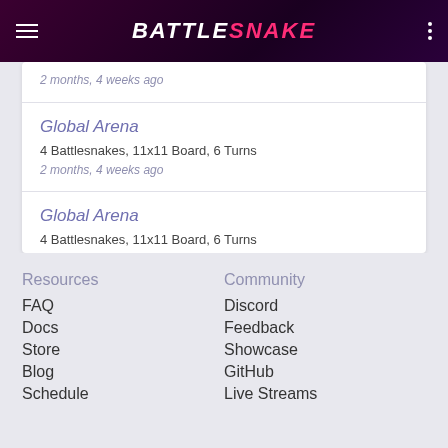Battlesnake
2 months, 4 weeks ago
Global Arena
4 Battlesnakes, 11x11 Board, 6 Turns
2 months, 4 weeks ago
Global Arena
4 Battlesnakes, 11x11 Board, 6 Turns
2 months, 4 weeks ago
Resources
FAQ
Docs
Store
Blog
Schedule
Community
Discord
Feedback
Showcase
GitHub
Live Streams